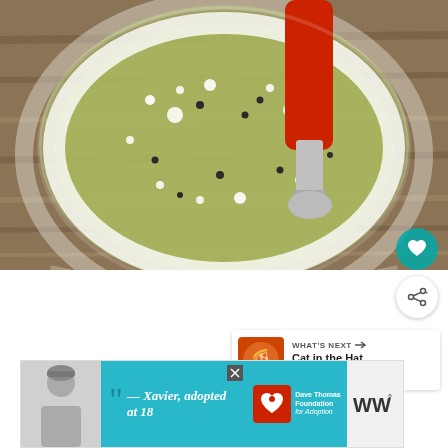[Figure (photo): Close-up overhead view of a glass bowl containing olive oil, coarse salt, and black pepper being stirred with a red silicone spatula, on a wooden surface.]
[Figure (photo): Thumbnail of Cat in the Hat Pizza recipe image with red/orange hat design]
WHAT'S NEXT → Cat in the Hat Pizza
[Figure (photo): Advertisement: Dave Thomas Foundation for Adoption. Man in beanie hat with quote '— Xavier, adopted at 18']